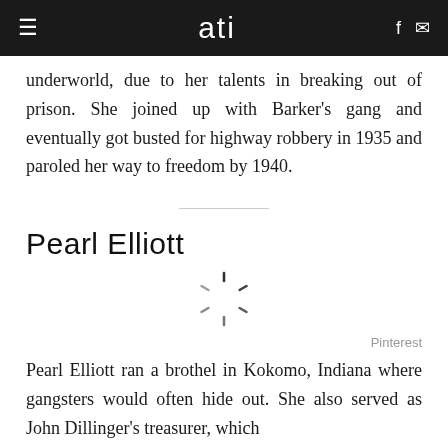≡  ati  f ✉
underworld, due to her talents in breaking out of prison. She joined up with Barker's gang and eventually got busted for highway robbery in 1935 and paroled her way to freedom by 1940.
Pearl Elliott
[Figure (other): Loading spinner / placeholder image icon]
Pinterest
Pearl Elliott ran a brothel in Kokomo, Indiana where gangsters would often hide out. She also served as John Dillinger's treasurer, which